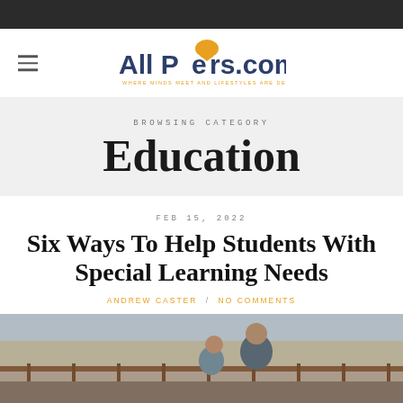AllPeers.com — WHERE MINDS MEET AND LIFESTYLES ARE DEFINED
BROWSING CATEGORY
Education
FEB 15, 2022
Six Ways To Help Students With Special Learning Needs
ANDREW CASTER / NO COMMENTS
[Figure (photo): Two people sitting together outdoors, one appears to be helping the other, shot from behind/side with out-of-focus background showing a street or outdoor setting]